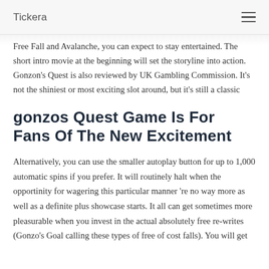Tickera
Free Fall and Avalanche, you can expect to stay entertained. The short intro movie at the beginning will set the storyline into action. Gonzon's Quest is also reviewed by UK Gambling Commission. It's not the shiniest or most exciting slot around, but it's still a classic
gonzos Quest Game Is For Fans Of The New Excitement
Alternatively, you can use the smaller autoplay button for up to 1,000 automatic spins if you prefer. It will routinely halt when the opportinity for wagering this particular manner 're no way more as well as a definite plus showcase starts. It all can get sometimes more pleasurable when you invest in the actual absolutely free re-writes (Gonzo's Goal calling these types of free of cost falls). You will get